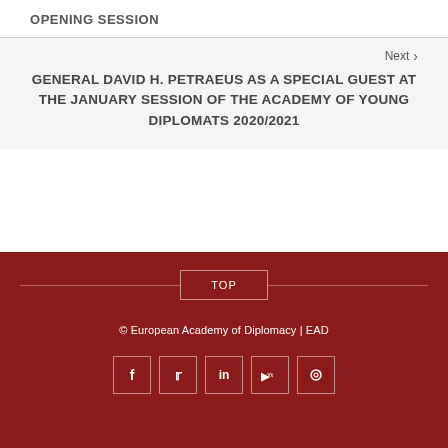OPENING SESSION
Next
GENERAL DAVID H. PETRAEUS AS A SPECIAL GUEST AT THE JANUARY SESSION OF THE ACADEMY OF YOUNG DIPLOMATS 2020/2021
TOP
© European Academy of Diplomacy | EAD
[Figure (other): Social media icons: Facebook, Twitter, LinkedIn, YouTube, Instagram]